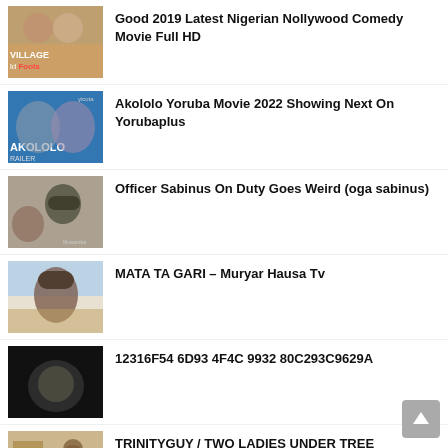Good 2019 Latest Nigerian Nollywood Comedy Movie Full HD
Akololo Yoruba Movie 2022 Showing Next On Yorubaplus
Officer Sabinus On Duty Goes Weird (oga sabinus)
MATA TA GARI – Muryar Hausa Tv
12316F54 6D93 4F4C 9932 80C293C9629A
TRINITYGUY / TWO LADIES UNDER TREE